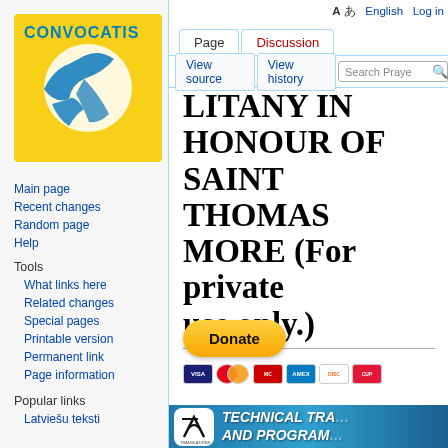[Figure (logo): Convocatis logo - yellow background with blue bird/wing design and CONVOCATIS text]
Main page
Recent changes
Random page
Help
Tools
What links here
Related changes
Special pages
Printable version
Permanent link
Page information
Popular links
Latviešu teksti
A あ  English  Log in
LITANY IN HONOUR OF SAINT THOMAS MORE (For private use only.)
[Figure (other): Donate button with PayPal styling and payment card icons (Visa, Mastercard, American Express, Discover, UnionPay)]
[Figure (other): Technical Translations and Programming banner with logo]